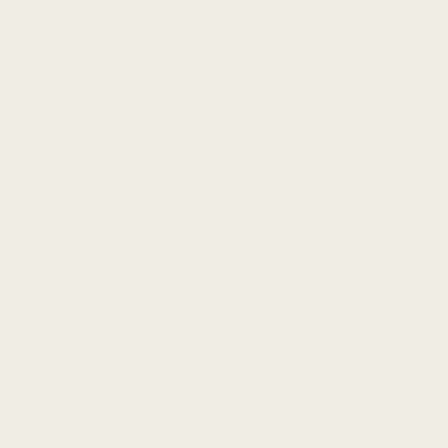Inviting Sealed Tender for Supply of Desk T...
Inviting Sealed Tenders for the Furniture 11...
Inviting Sealed Tenders for the Wooden Co...
Inviting Sealed Tenders for the Wooden Co...
Inviting Sealed Tender for Supply of Furnitu...
e-tender for Office Modernization and re...
e-tender for the Office Modernization Work...
Inviting Sealed Tenders for the supply of Hi...
Inviting Sealed Tender for the Supply of Ho...
Inviting Sealed Tenders for the Supply of W...
inviting manual tender Construction of Cha...
etender for the Supply of Steel items 11090...
E Tender for the supply of Cot at Kozhikod...
etenders for the Supply of Steel items 1108...
Inviting Sealed Tender for The Supply of Fu...
Inviting Sealed Tender for Supply of Desk T...
Inviting Sealed Tenders for open wall shelf ...
Inviting Sealed Tender for the Supply ofFu...